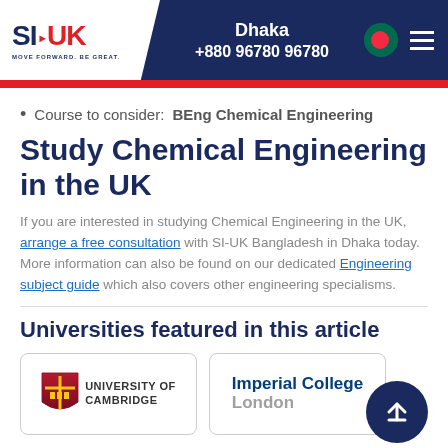Dhaka +880 96780 96780
Course to consider: BEng Chemical Engineering
Study Chemical Engineering in the UK
If you are interested in studying Chemical Engineering in the UK, arrange a free consultation with SI-UK Bangladesh in Dhaka today. More information can also be found on our dedicated Engineering subject guide which also covers other engineering specialisms.
Universities featured in this article
[Figure (logo): University of Cambridge logo with shield and text]
[Figure (logo): Imperial College London logo in blue and grey text]